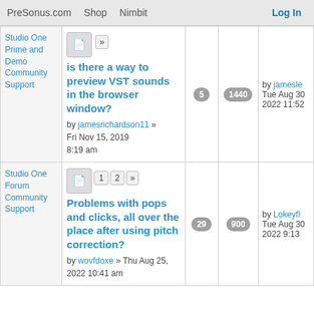PreSonus.com  Shop  Nimbit  Log In
| Category | Topic | Replies | Views | Last Post |
| --- | --- | --- | --- | --- |
| Studio One Prime and Demo Community Support | is there a way to preview VST sounds in the browser window? by jamesrichardson11 » Fri Nov 15, 2019 8:19 am | 5 | 1440 | by jamesle Tue Aug 30 2022 11:52 |
| Studio One Forum Community Support | Problems with pops and clicks, all over the place after using pitch correction? by wovfdoxe » Thu Aug 25, 2022 10:41 am | 29 | 900 | by Lokeyfl Tue Aug 30 2022 9:13 |